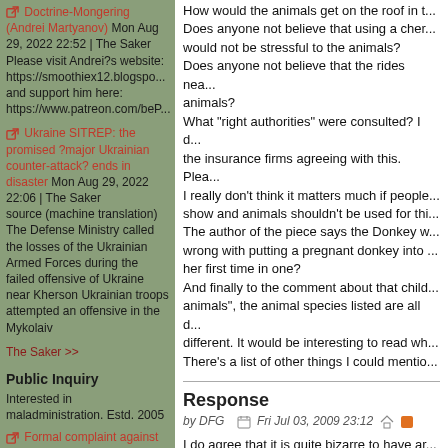Doctrine-Mongering (Andrei Martyanov) Mon Aug 29, 2022 22:52 | The Saker
Please visit Andrei?s website: https://smoothiex12.blogspo... and support him here: https://www.patreon.com/beP...
Ukraine SITREP: the promised ?major Ukrainian counter-attack? ends in disaster Mon Aug 29, 2022 22:06 | The Saker
source (machine translation) The Defense Ministry called the losses of the Ukrainian Armed Forces during the failed offensive of Ukraine near Kherson Ukrainian troops attempted an offensive in the Mykolaiv
The Saker >>
Public Inquiry
Interested in maladministration. Estd. 2005
Formal complaint against Robert Watt Anthony
How would the animals get on the roof in t...
Does anyone not believe that using a cher... would not be stressful to the animals?
Does anyone not believe that the rides nea... animals?
What "right authorities" were consulted? I d... the insurance firms agreeing with this. Plea...
I really don't think it matters much if people... show and animals shouldn't be used for thi...
The author of the piece says the Donkey w... wrong with putting a pregnant donkey into ... her first time in one?
And finally to the comment about that child... animals", the animal species listed are all d... different. It would be interesting to read wh... There's a list of other things I could mentio...
Response
by DFG   Fri Jul 03, 2009 23:12
I do agree that it is quite bizarre to have ar... my son when he informed me. But a neigh... was there while the farmer was their, and s... farmer let the wee dog out - on a lead i was... to pet it and the kids have since been begg... from Belfast, we stay in the local caravan p... see such animals. They were having great... place had to close. Fair enough, it was odd...